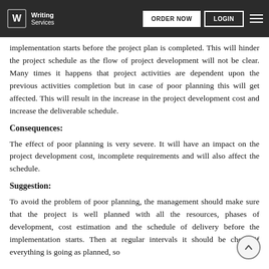Writing Services | ORDER NOW | LOGIN
implementation starts before the project plan is completed. This will hinder the project schedule as the flow of project development will not be clear. Many times it happens that project activities are dependent upon the previous activities completion but in case of poor planning this will get affected. This will result in the increase in the project development cost and increase the deliverable schedule.
Consequences:
The effect of poor planning is very severe. It will have an impact on the project development cost, incomplete requirements and will also affect the schedule.
Suggestion:
To avoid the problem of poor planning, the management should make sure that the project is well planned with all the resources, phases of development, cost estimation and the schedule of delivery before the implementation starts. Then at regular intervals it should be check if everything is going as planned, so